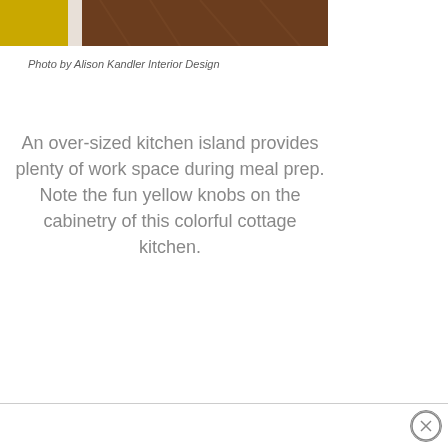[Figure (photo): Partial view of a kitchen with dark wood flooring and a yellow cabinet element, cropped at top of page]
Photo by Alison Kandler Interior Design
An over-sized kitchen island provides plenty of work space during meal prep. Note the fun yellow knobs on the cabinetry of this colorful cottage kitchen.